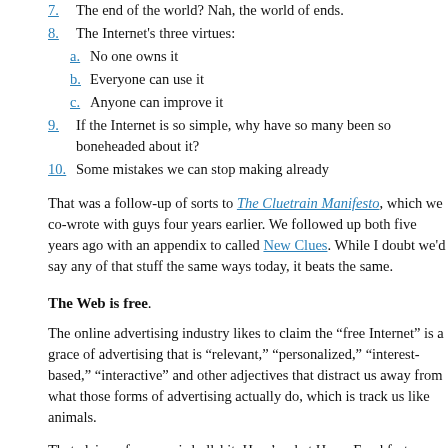7. The end of the world? Nah, the world of ends.
8. The Internet's three virtues:
a. No one owns it
b. Everyone can use it
c. Anyone can improve it
9. If the Internet is so simple, why have so many been so boneheaded about it?
10. Some mistakes we can stop making already
That was a follow-up of sorts to The Cluetrain Manifesto, which we co-wrote with guys four years earlier. We followed up both five years ago with an appendix to called New Clues. While I doubt we'd say any of that stuff the same ways today, it beats the same.
The Web is free.
The online advertising industry likes to claim the “free Internet” is a grace of advertising that is “relevant,” “personalized,” “interest-based,” “interactive” and other adjectives that distract us away from what those forms of advertising actually do, which is track us like animals.
That claim, of course, is bullshit. Here’s what Harry Frankfurt says about that in his seminal work, On Bullshit (Cambridge University Press, 1988): “The realms of advertising and public relations, and the nowadays closely related realm of politics, are replete with instances of bullshit so unmitigated that they can serve among the most indisputable and classic paradigms of the concept.” Boiled down, bullshit is what Wikipedia (at the moment, being evanescent) calls “speech intended to persuade without regard for truth.” Frankfurt’s distinction: “The liar cares about the truth and attempts to hide it; the bullshitter doesn’t care if what they say is true or false, but rather only cares whether their listener is pe…